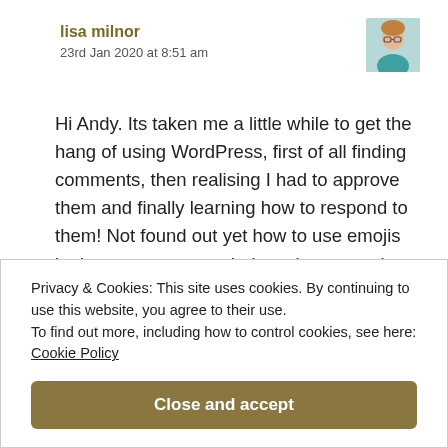lisa milnor
23rd Jan 2020 at 8:51 am
[Figure (photo): Small square avatar photo of a woman with glasses and teal top]
Hi Andy. Its taken me a little while to get the hang of using WordPress, first of all finding comments, then realising I had to approve them and finally learning how to respond to them! Not found out yet how to use emojis in these responses – it doesn't seem to let me use them, but hey ho all
Privacy & Cookies: This site uses cookies. By continuing to use this website, you agree to their use.
To find out more, including how to control cookies, see here:
Cookie Policy
Close and accept